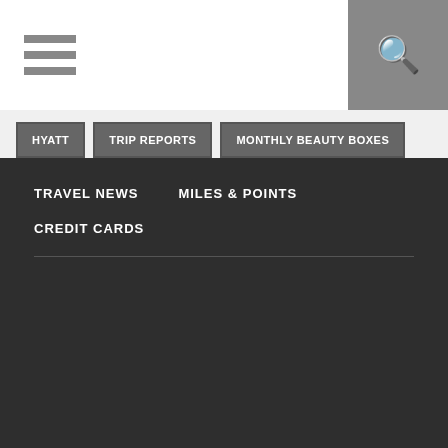[Figure (other): Navigation bar with hamburger menu icon and search icon]
HYATT
TRIP REPORTS
MONTHLY BEAUTY BOXES
ALASKA
STARBUCKS
TRAVEL ACCESSORIES
UNITED AIRLINES
GIVEAWAY
SPG HOT ESCAPES
TARGET
SPIRIT AIRLINES
SAMPLE SOCIETY
LYFT
SHERATON
HILTON
GIVEAWAYS
SILVERCAR
MILEAGE RUN
TRAVEL NEWS   MILES & POINTS   CREDIT CARDS